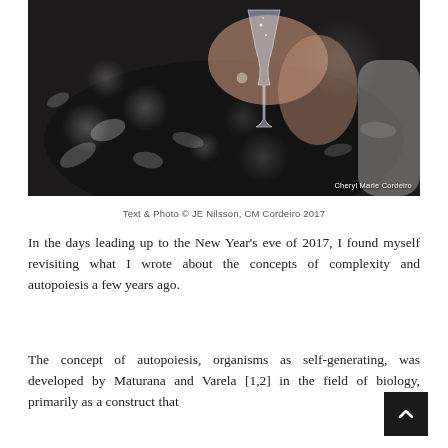[Figure (photo): Person in black floral dress holding a champagne flute, seated in a white chair. Photo credit: Cheryl Marie Cordeiro]
Text & Photo © JE Nilsson, CM Cordeiro 2017
In the days leading up to the New Year's eve of 2017, I found myself revisiting what I wrote about the concepts of complexity and autopoiesis a few years ago.
The concept of autopoiesis, organisms as self-generating, was developed by Maturana and Varela [1,2] in the field of biology, primarily as a construct that